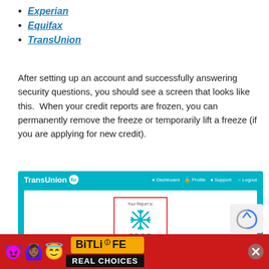Experian
Equifax
TransUnion
After setting up an account and successfully answering security questions, you should see a screen that looks like this.  When your credit reports are frozen, you can permanently remove the freeze or temporarily lift a freeze (if you are applying for new credit).
[Figure (screenshot): TransUnion website screenshot showing a frozen credit report card with a snowflake icon and the word FROZEN, with navigation bar showing Dashboard, Profile, Support, Logout links.]
[Figure (screenshot): BitLife advertisement banner with emoji characters, BitLife logo, and REAL CHOICES text on dark background.]